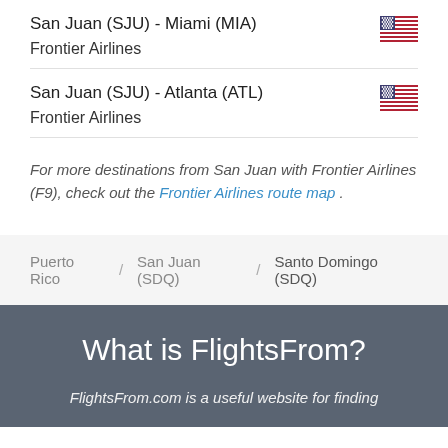San Juan (SJU) - Miami (MIA)
Frontier Airlines
San Juan (SJU) - Atlanta (ATL)
Frontier Airlines
For more destinations from San Juan with Frontier Airlines (F9), check out the Frontier Airlines route map .
Puerto Rico / San Juan (SDQ) / Santo Domingo (SDQ)
What is FlightsFrom?
FlightsFrom.com is a useful website for finding